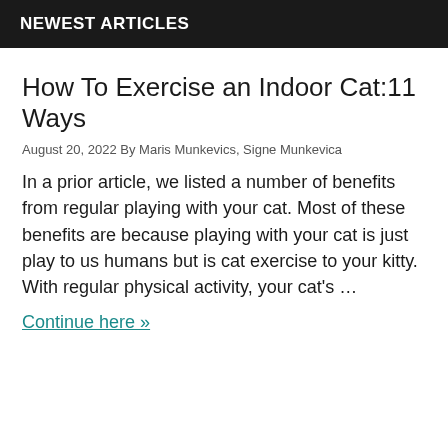NEWEST ARTICLES
How To Exercise an Indoor Cat:11 Ways
August 20, 2022 By Maris Munkevics, Signe Munkevica
In a prior article, we listed a number of benefits from regular playing with your cat. Most of these benefits are because playing with your cat is just play to us humans but is cat exercise to your kitty. With regular physical activity, your cat's …
Continue here »